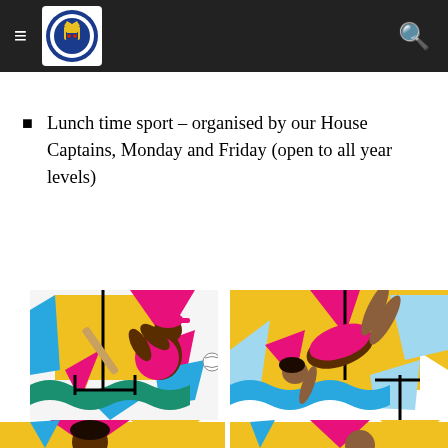[Navigation bar with hamburger menu, school logo, and search icon]
Lunch time sport – organised by our House Captains, Monday and Friday (open to all year levels)
[Figure (illustration): Colorful sports illustration showing a baseball batter in pink uniform swinging at a ball, and a female gymnast/diver in pink leotard in a backbend position, set against geometric yellow, blue, pink and teal shapes. Bottom portion shows partial view of additional sports figures.]